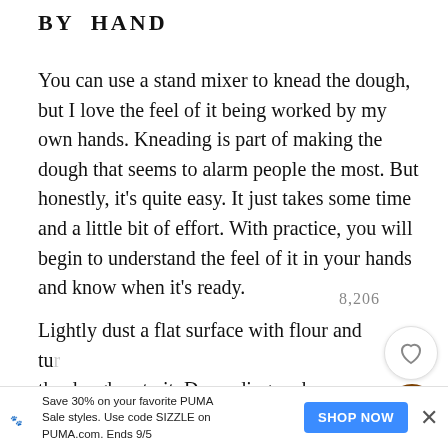BY HAND
You can use a stand mixer to knead the dough, but I love the feel of it being worked by my own hands. Kneading is part of making the dough that seems to alarm people the most. But honestly, it’s quite easy. It just takes some time and a little bit of effort. With practice, you will begin to understand the feel of it in your hands and know when it’s ready.
8,206
Lightly dust a flat surface with flour and turn the dough onto it. Depending on how sticky the dough is, sprinkle a little more flour on
as well. With the heel of your hand, push the dough...